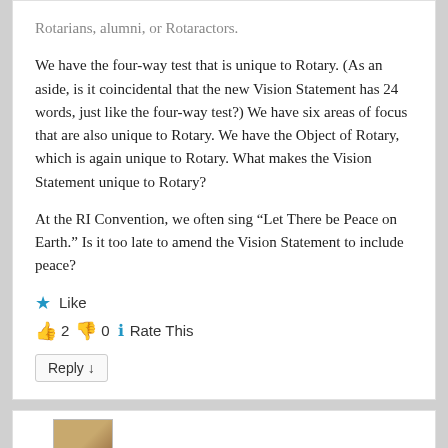Rotarians, alumni, or Rotaractors.
We have the four-way test that is unique to Rotary. (As an aside, is it coincidental that the new Vision Statement has 24 words, just like the four-way test?) We have six areas of focus that are also unique to Rotary. We have the Object of Rotary, which is again unique to Rotary. What makes the Vision Statement unique to Rotary?
At the RI Convention, we often sing “Let There be Peace on Earth.” Is it too late to amend the Vision Statement to include peace?
★ Like
👍 2 👎 0 ℹ Rate This
Reply ↓
[Figure (photo): Bottom of page showing start of another comment card with a person's avatar photo (brown/tan tones)]